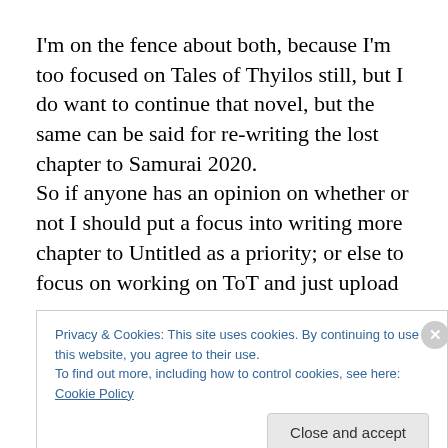I'm on the fence about both, because I'm too focused on Tales of Thyilos still, but I do want to continue that novel, but the same can be said for re-writing the lost chapter to Samurai 2020.
So if anyone has an opinion on whether or not I should put a focus into writing more chapter to Untitled as a priority; or else to focus on working on ToT and just upload
Privacy & Cookies: This site uses cookies. By continuing to use this website, you agree to their use.
To find out more, including how to control cookies, see here: Cookie Policy
Close and accept